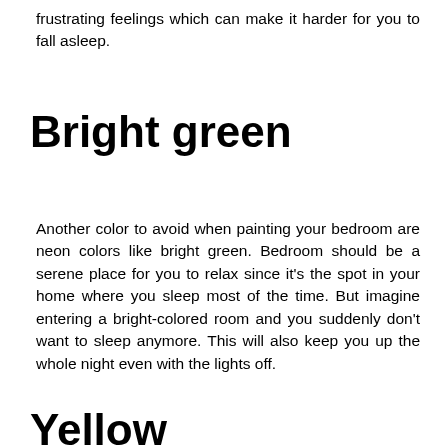frustrating feelings which can make it harder for you to fall asleep.
Bright green
Another color to avoid when painting your bedroom are neon colors like bright green. Bedroom should be a serene place for you to relax since it's the spot in your home where you sleep most of the time. But imagine entering a bright-colored room and you suddenly don't want to sleep anymore. This will also keep you up the whole night even with the lights off.
Yellow